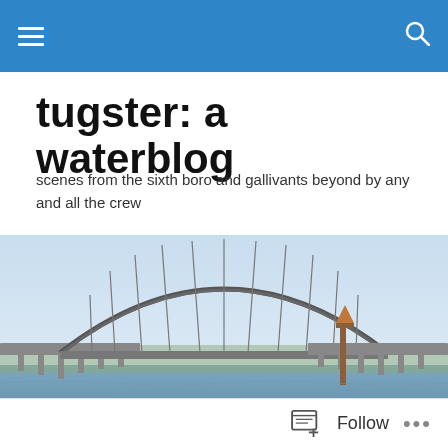tugster: a waterblog (navigation bar)
tugster: a waterblog
scenes from the sixth boro and gallivants beyond by any and all the crew
[Figure (photo): Wide panoramic photograph of a large steel arch bridge over a body of water, with a clear sky backdrop, green foliage on the far shore, and a crane or barge visible near the right side of the bridge.]
TAGGED WITH SEA RAVEN
Retro Sixth Boro 35 B
Follow